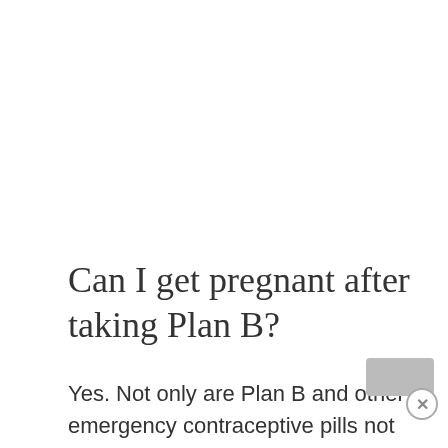Can I get pregnant after taking Plan B?
Yes. Not only are Plan B and other emergency contraceptive pills not 100-percent effective, but when ovulation will continue after taking the pill is uncertain. The effectiveness of Plan B may also hinge